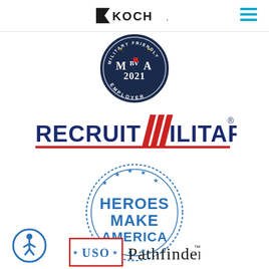KOCH
[Figure (logo): Military Friendly Employer 2021 badge — dark navy circular seal with '2021' and 'EMPLOYER' text]
[Figure (logo): RecruitMilitary logo — bold navy text 'RECRUIT' followed by red diagonal stripes and 'ILITARY' with registered trademark symbol, red underline]
[Figure (logo): Heroes Make America circular logo — blue circle with stars, bold blue text 'HEROES MAKE AMERICA' inside]
[Figure (logo): Accessibility/wheelchair icon button — circular blue icon]
[Figure (logo): USO Pathfinder logo — red bordered box with 'USO' stars and 'Pathfinder' text with trademark symbol]